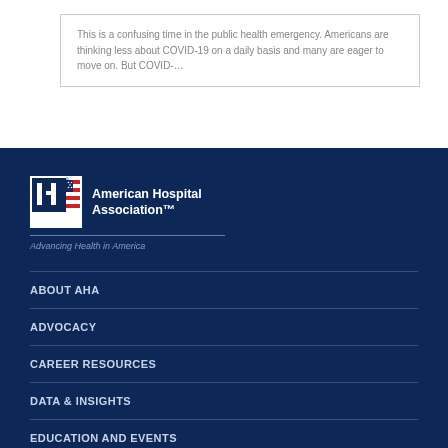This is a confusing time in the public health emergency. Americans are thinking less about COVID-19 on a daily basis and many are eager to move on. But COVID-…
[Figure (logo): American Hospital Association logo with H emblem and American flag design, tagline: Advancing Health in America]
ABOUT AHA
ADVOCACY
CAREER RESOURCES
DATA & INSIGHTS
EDUCATION AND EVENTS